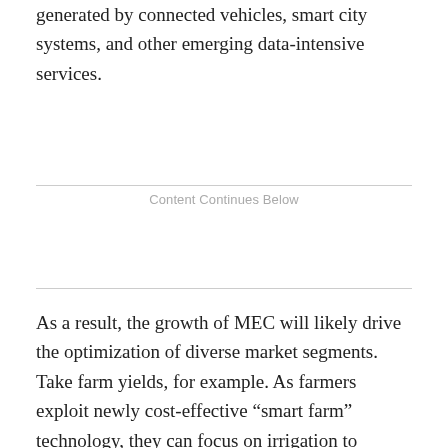generated by connected vehicles, smart city systems, and other emerging data-intensive services.
Content Continues Below
As a result, the growth of MEC will likely drive the optimization of diverse market segments. Take farm yields, for example. As farmers exploit newly cost-effective “smart farm” technology, they can focus on irrigation to conserve water or identify and target harmful pests that can be removed using less toxic methods than are currently used.